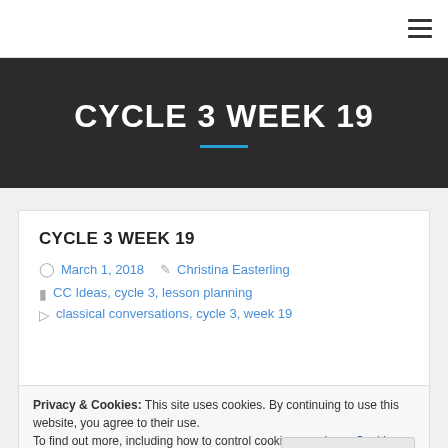≡ (hamburger menu)
CYCLE 3 WEEK 19
CYCLE 3 WEEK 19
March 1, 2018   Christina Easterling
CC Ideas, cycle 3, lesson planning
classical conversations, cycle 3, week 19
Privacy & Cookies: This site uses cookies. By continuing to use this website, you agree to their use.
To find out more, including how to control cookies, see here: Cookie Policy
Close and accept
memory work to song.  The song includes the states where the